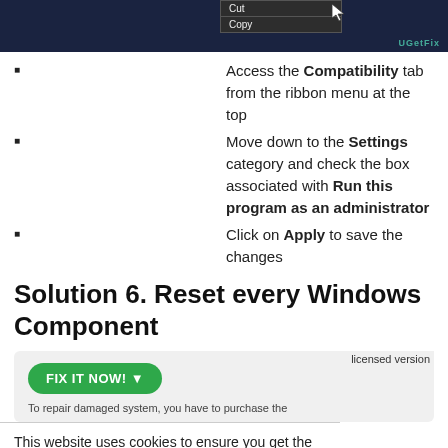[Figure (screenshot): Screenshot of a dark UI with a context menu showing Cut and Copy options, with a cursor and UGetFix watermark]
Access the Compatibility tab from the ribbon menu at the top
Move down to the Settings category and check the box associated with Run this program as an administrator
Click on Apply to save the changes
Solution 6. Reset every Windows Component
[Figure (screenshot): A light grey box with a green FIX IT NOW! button and partial text about purchasing licensed version]
This website uses cookies to ensure you get the best experience on our website.
Privacy policy
OK
ator again